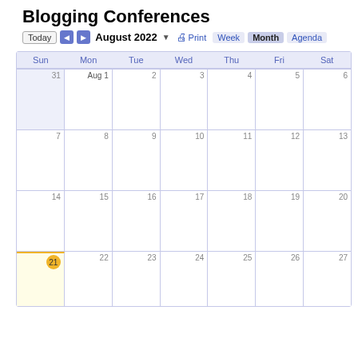Blogging Conferences
Today ◀ ▶ August 2022 ▼ 🖨 Print Week Month Agenda
| Sun | Mon | Tue | Wed | Thu | Fri | Sat |
| --- | --- | --- | --- | --- | --- | --- |
| 31 | Aug 1 | 2 | 3 | 4 | 5 | 6 |
| 7 | 8 | 9 | 10 | 11 | 12 | 13 |
| 14 | 15 | 16 | 17 | 18 | 19 | 20 |
| 21 | 22 | 23 | 24 | 25 | 26 | 27 |